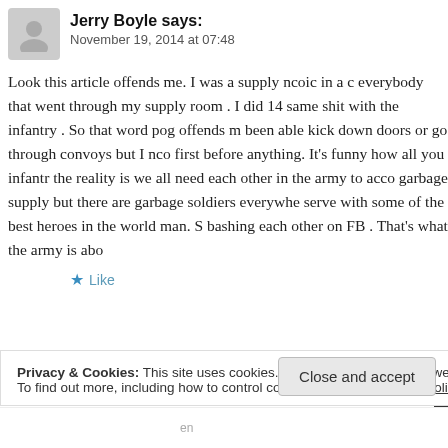Jerry Boyle says:
November 19, 2014 at 07:48
Look this article offends me. I was a supply ncoic in a c everybody that went through my supply room . I did 14 same shit with the infantry . So that word pog offends m been able kick down doors or go through convoys but I nco first before anything. It’s funny how all you infantr the reality is we all need each other in the army to acco garbage supply but there are garbage soldiers everywhe serve with some of the best heroes in the world man. S bashing each other on FB . That’s what the army is abo
Like
Privacy & Cookies: This site uses cookies. By continuing to use this website, you agree to their use.
To find out more, including how to control cookies, see here: Cookie Policy
Close and accept